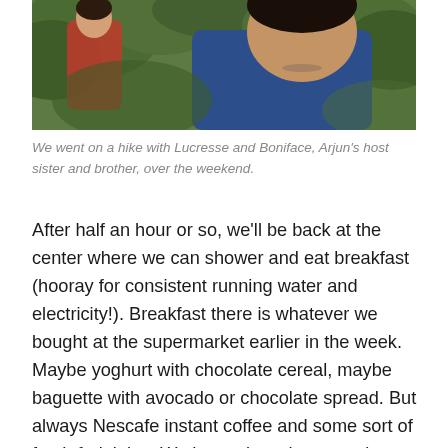[Figure (photo): Photo of people on a hike outdoors, with greenery in the background. A person in a blue t-shirt is visible in the foreground.]
We went on a hike with Lucresse and Boniface, Arjun's host sister and brother, over the weekend.
After half an hour or so, we'll be back at the center where we can shower and eat breakfast (hooray for consistent running water and electricity!). Breakfast there is whatever we bought at the supermarket earlier in the week. Maybe yoghurt with chocolate cereal, maybe baguette with avocado or chocolate spread. But always Nescafe instant coffee and some sort of fresh fruit juice. We have class there starting at 9am. We have Cameroonian literature for two hours with Professor Ngabeu (Ariane) and then history and culture of Cameroon for two more hours with Professor Fofack (all in french of course).